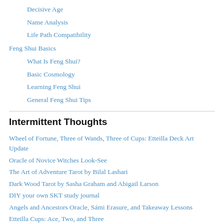Decisive Age
Name Analysis
Life Path Compatibility
Feng Shui Basics
What Is Feng Shui?
Basic Cosmology
Learning Feng Shui
General Feng Shui Tips
Intermittent Thoughts
Wheel of Fortune, Three of Wands, Three of Cups: Etteilla Deck Art Update
Oracle of Novice Witches Look-See
The Art of Adventure Tarot by Bilal Lashari
Dark Wood Tarot by Sasha Graham and Abigail Larson
DIY your own SKT study journal
Angels and Ancestors Oracle, Sámi Erasure, and Takeaway Lessons
Etteilla Cups: Ace, Two, and Three